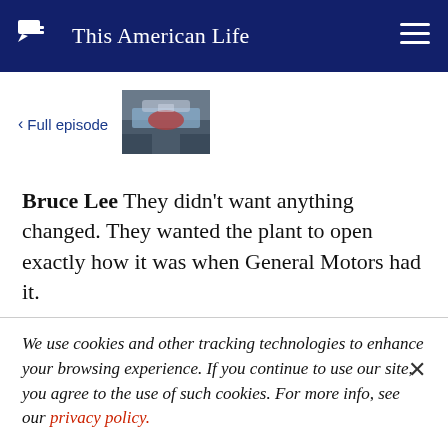This American Life
< Full episode
[Figure (photo): Thumbnail image of a car manufacturing plant/assembly line]
Bruce Lee  They didn't want anything changed. They wanted the plant to open exactly how it was when General Motors had it.
We use cookies and other tracking technologies to enhance your browsing experience. If you continue to use our site, you agree to the use of such cookies. For more info, see our privacy policy.
Frank Langell  They even hung Lee in effigy. But